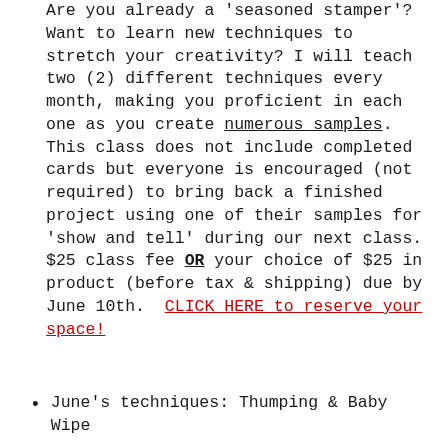Are you already a 'seasoned stamper'? Want to learn new techniques to stretch your creativity? I will teach two (2) different techniques every month, making you proficient in each one as you create numerous samples. This class does not include completed cards but everyone is encouraged (not required) to bring back a finished project using one of their samples for 'show and tell' during our next class. $25 class fee OR your choice of $25 in product (before tax & shipping) due by June 10th. CLICK HERE to reserve your space!
June's techniques: Thumping & Baby Wipe